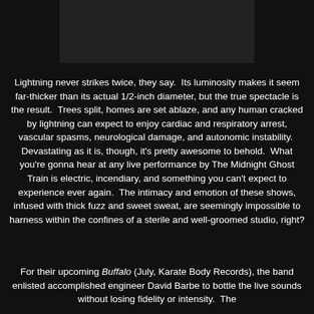[Figure (photo): Dark rectangular image area at top of page, appears to be a photo placeholder or dark photograph]
Lightning never strikes twice, they say.  Its luminosity makes it seem far-thicker than its actual 1/2-inch diameter, but the true spectacle is the result.  Trees split, homes are set ablaze, and any human cracked by lightning can expect to enjoy cardiac and respiratory arrest, vascular spasms, neurological damage, and autonomic instability.  Devastating as it is, though, it's pretty awesome to behold.  What you're gonna hear at any live performance by The Midnight Ghost Train is electric, incendiary, and something you can't expect to experience ever again.  The intimacy and emotion of these shows, infused with thick fuzz and sweet sweat, are seemingly impossible to harness within the confines of a sterile and well-groomed studio, right?
For their upcoming Buffalo (July, Karate Body Records), the band enlisted accomplished engineer David Barbe to bottle the live sounds without losing fidelity or intensity.  The